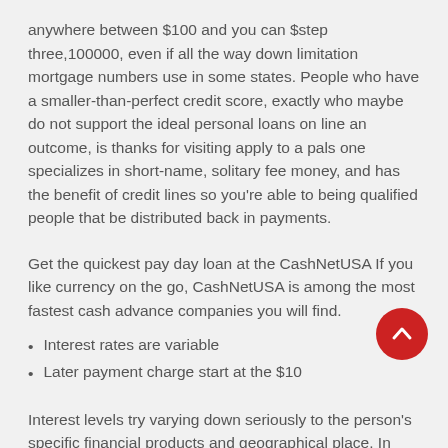anywhere between $100 and you can $step three,100000, even if all the way down limitation mortgage numbers use in some states. People who have a smaller-than-perfect credit score, exactly who maybe do not support the ideal personal loans on line an outcome, is thanks for visiting apply to a pals one specializes in short-name, solitary fee money, and has the benefit of credit lines so you're able to being qualified people that be distributed back in payments.
Get the quickest pay day loan at the CashNetUSA If you like currency on the go, CashNetUSA is among the most fastest cash advance companies you will find.
Interest rates are variable
Later payment charge start at the $10
Interest levels try varying down seriously to the person's specific financial products and geographical place. In